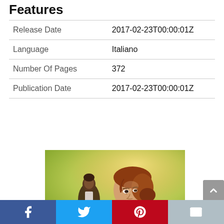Features
|  |  |
| --- | --- |
| Release Date | 2017-02-23T00:00:01Z |
| Language | Italiano |
| Number Of Pages | 372 |
| Publication Date | 2017-02-23T00:00:01Z |
[Figure (photo): Movie poster photo showing a woman in the foreground with auburn hair in an updo, and a man in a brown jacket standing behind her, against a warm golden-green background.]
Facebook | Twitter | Pinterest | Email social share bar